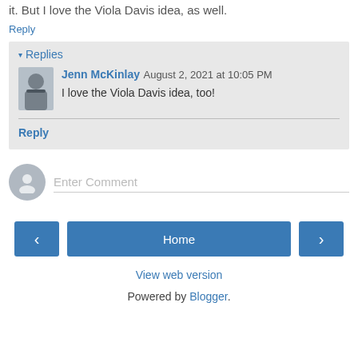it. But I love the Viola Davis idea, as well.
Reply
▾ Replies
Jenn McKinlay August 2, 2021 at 10:05 PM
I love the Viola Davis idea, too!
Reply
Enter Comment
Home
View web version
Powered by Blogger.